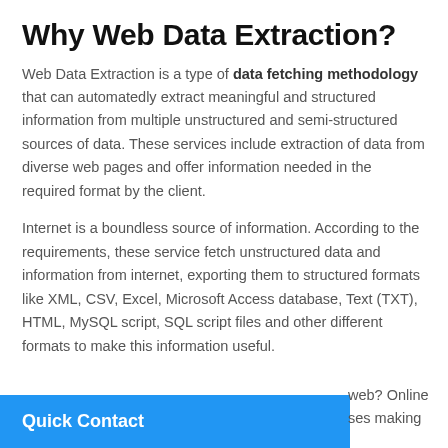Why Web Data Extraction?
Web Data Extraction is a type of data fetching methodology that can automatedly extract meaningful and structured information from multiple unstructured and semi-structured sources of data. These services include extraction of data from diverse web pages and offer information needed in the required format by the client.
Internet is a boundless source of information. According to the requirements, these service fetch unstructured data and information from internet, exporting them to structured formats like XML, CSV, Excel, Microsoft Access database, Text (TXT), HTML, MySQL script, SQL script files and other different formats to make this information useful.
Quick Contact
web? Online ses making